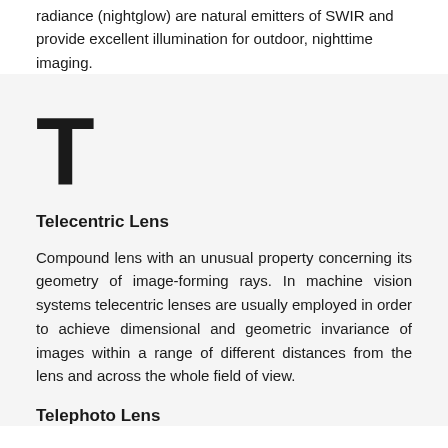radiance (nightglow) are natural emitters of SWIR and provide excellent illumination for outdoor, nighttime imaging.
T
Telecentric Lens
Compound lens with an unusual property concerning its geometry of image-forming rays. In machine vision systems telecentric lenses are usually employed in order to achieve dimensional and geometric invariance of images within a range of different distances from the lens and across the whole field of view.
Telephoto Lens